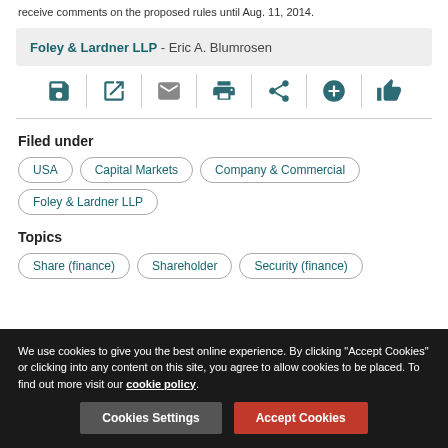receive comments on the proposed rules until Aug. 11, 2014.
Foley & Lardner LLP - Eric A. Blumrosen
[Figure (infographic): Row of action icons: save, open/external, email, print, share, add, like — separated by vertical dividers]
Filed under
USA
Capital Markets
Company & Commercial
Foley & Lardner LLP
Topics
Share (finance)
Shareholder
Security (finance)
We use cookies to give you the best online experience. By clicking "Accept Cookies" or clicking into any content on this site, you agree to allow cookies to be placed. To find out more visit our cookie policy.